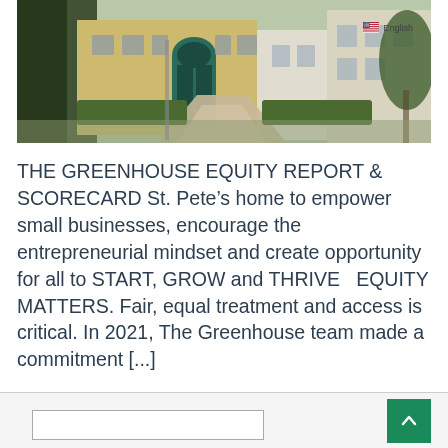[Figure (photo): Exterior photo of The Greenhouse building in St. Pete, showing a stone/brick building with teal/green arched entrance door, surrounded by trees and landscaped hedges, with a walkway leading to the entrance. A US flag icon and 'English' language label appear in the top right.]
THE GREENHOUSE EQUITY REPORT & SCORECARD St. Pete’s home to empower small businesses, encourage the entrepreneurial mindset and create opportunity for all to START, GROW and THRIVE   EQUITY MATTERS. Fair, equal treatment and access is critical. In 2021, The Greenhouse team made a commitment [...]